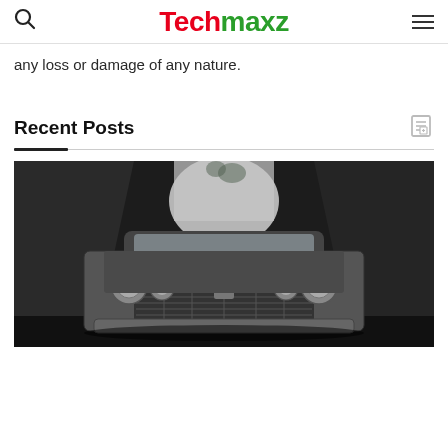Techmaxz
any loss or damage of any nature.
Recent Posts
[Figure (photo): Black and white photo of a vintage classic American car (front view) parked in a narrow alley between dark wooden walls, with a bright opening visible behind the car.]